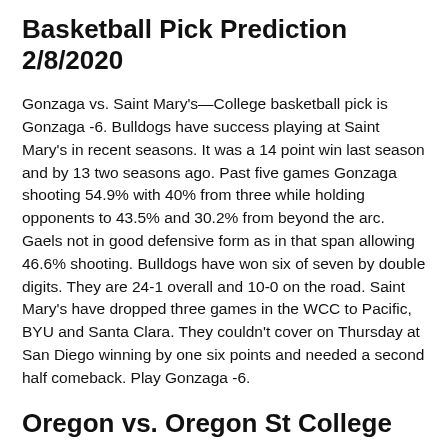Basketball Pick Prediction 2/8/2020
Gonzaga vs. Saint Mary's—College basketball pick is Gonzaga -6. Bulldogs have success playing at Saint Mary's in recent seasons. It was a 14 point win last season and by 13 two seasons ago. Past five games Gonzaga shooting 54.9% with 40% from three while holding opponents to 43.5% and 30.2% from beyond the arc. Gaels not in good defensive form as in that span allowing 46.6% shooting. Bulldogs have won six of seven by double digits. They are 24-1 overall and 10-0 on the road. Saint Mary's have dropped three games in the WCC to Pacific, BYU and Santa Clara. They couldn't cover on Thursday at San Diego winning by one six points and needed a second half comeback. Play Gonzaga -6.
Oregon vs. Oregon St College